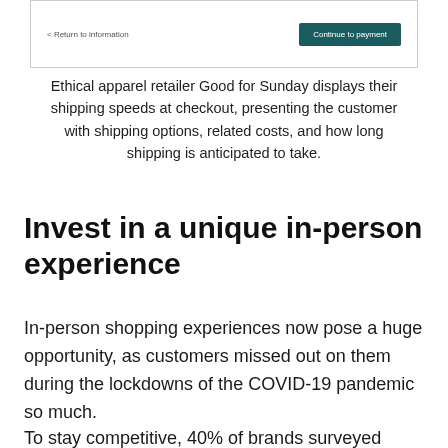[Figure (screenshot): Screenshot of a checkout page showing a 'Continue to payment' button and a back link '< Return to information']
Ethical apparel retailer Good for Sunday displays their shipping speeds at checkout, presenting the customer with shipping options, related costs, and how long shipping is anticipated to take.
Invest in a unique in-person experience
In-person shopping experiences now pose a huge opportunity, as customers missed out on them during the lockdowns of the COVID-19 pandemic so much.
To stay competitive, 40% of brands surveyed